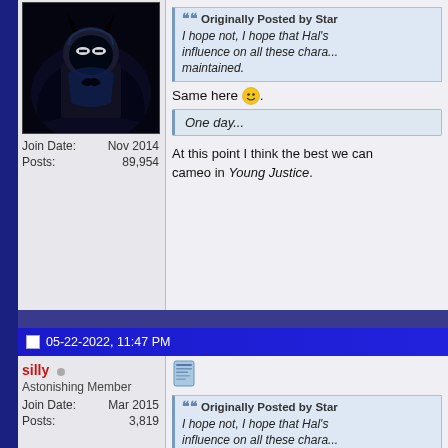[Figure (illustration): Batman avatar illustration in dark blue/black tones]
Join Date: Nov 2014
Posts: 89,954
Originally Posted by Star
I hope not, I hope that Hal's influence on all these characters is maintained.
Same here 🙂.
One day...
At this point I think the best we can hope for is a cameo in Young Justice.
05-22-2022, 11:47 PM
silly
Astonishing Member
Join Date: Mar 2015
Posts: 3,819
[Figure (other): Document/post icon]
Originally Posted by Star
I hope not, I hope that Hal's influence on all these characters is maintained.